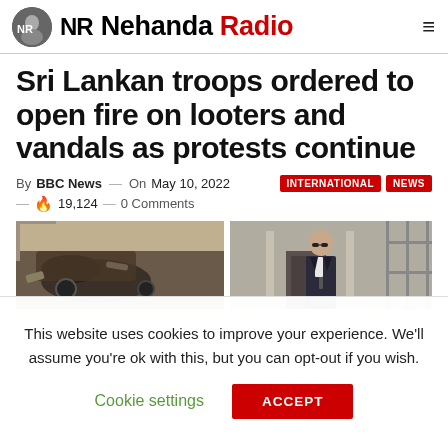Nehanda Radio
Sri Lankan troops ordered to open fire on looters and vandals as protests continue
By BBC News — On May 10, 2022    INTERNATIONAL  NEWS
— 🔥 19,124 — 0 Comments
[Figure (photo): News photo showing aftermath of protests in Sri Lanka — burned vehicles on left, a man in suit and sunglasses on right side near a building]
This website uses cookies to improve your experience. We'll assume you're ok with this, but you can opt-out if you wish. Cookie settings  ACCEPT